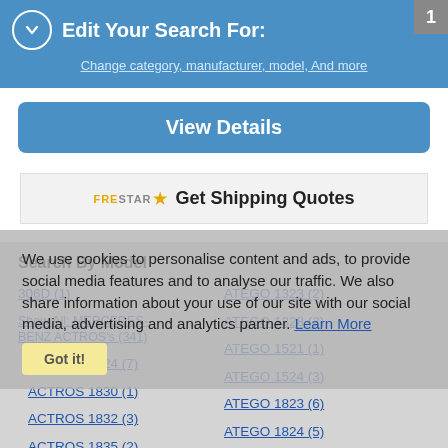Edit Your Search For:
Change category, manufacturer, model, And more
View Details
[Figure (logo): FRESTAR star logo with text Get Shipping Quotes]
We use cookies to personalise content and ads, to provide social media features and to analyse our traffic. We also share information about your use of our site with our social media, advertising and analytics partner. Learn More
Search By Model
306D (1)
Show All: MERCEDES-BENZ ACTROS's (341)
ACTROS 1824 (7)
ACTROS 1830 (1)
ACTROS 1832 (3)
ACTROS 1835 (2)
ACTROS 1836 (2)
ATEGO 1323 (2)
ATEGO 1328 (2)
ATEGO 1521 (1)
ATEGO 1524 (3)
ATEGO 1823 (6)
ATEGO 1824 (5)
ATEGO 2528 (1)
ATEGO 2628 (2)